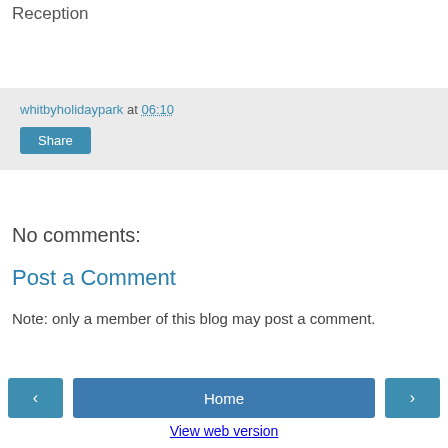Reception
whitbyholidaypark at 06:10
Share
No comments:
Post a Comment
Note: only a member of this blog may post a comment.
Home
View web version
Powered by Blogger.